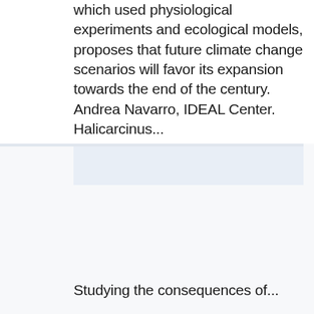which used physiological experiments and ecological models, proposes that future climate change scenarios will favor its expansion towards the end of the century. Andrea Navarro, IDEAL Center. Halicarcinus...
[Figure (other): Light blue/grey shaded empty card or image placeholder region]
Studying the consequences of...